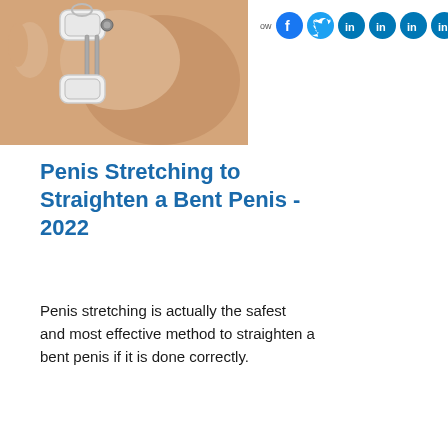[Figure (photo): Medical penile traction device illustration showing a white mechanical stretching device attached to a skin-toned anatomical model]
Penis Stretching to Straighten a Bent Penis - 2022
Penis stretching is actually the safest and most effective method to straighten a bent penis if it is done correctly.